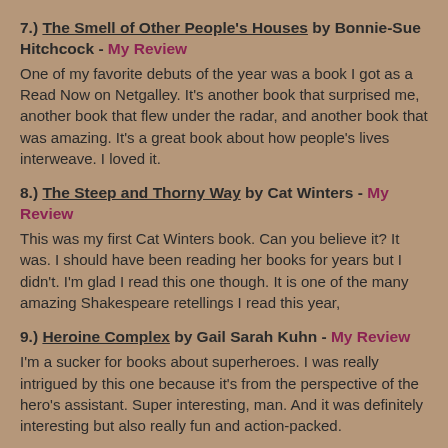7.) The Smell of Other People's Houses by Bonnie-Sue Hitchcock - My Review
One of my favorite debuts of the year was a book I got as a Read Now on Netgalley. It's another book that surprised me, another book that flew under the radar, and another book that was amazing. It's a great book about how people's lives interweave. I loved it.
8.) The Steep and Thorny Way by Cat Winters - My Review
This was my first Cat Winters book. Can you believe it? It was. I should have been reading her books for years but I didn't. I'm glad I read this one though. It is one of the many amazing Shakespeare retellings I read this year,
9.) Heroine Complex by Gail Sarah Kuhn - My Review
I'm a sucker for books about superheroes. I was really intrigued by this one because it's from the perspective of the hero's assistant. Super interesting, man. And it was definitely interesting but also really fun and action-packed.